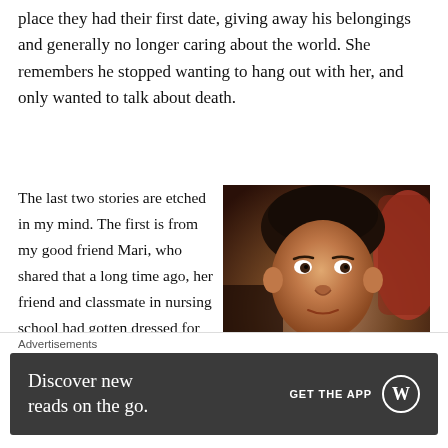place they had their first date, giving away his belongings and generally no longer caring about the world. She remembers he stopped wanting to hang out with her, and only wanted to talk about death.
The last two stories are etched in my mind. The first is from my good friend Mari, who shared that a long time ago, her friend and classmate in nursing school had gotten dressed for work one morning, arranged
[Figure (photo): Photo of a young boy with dark curly hair wearing a red and grey plaid shirt, looking up toward the camera in a dimly lit indoor setting.]
Advertisements
Discover new reads on the go.
GET THE APP